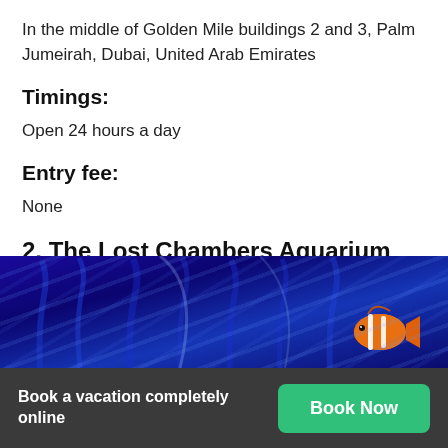In the middle of Golden Mile buildings 2 and 3, Palm Jumeirah, Dubai, United Arab Emirates
Timings:
Open 24 hours a day
Entry fee:
None
2. The Lost Chambers Aquarium
[Figure (photo): Underwater aquarium photo showing a clownfish (orange with white stripes) against a deep blue background with sea anemone structures]
Book a vacation completely online
Book Now